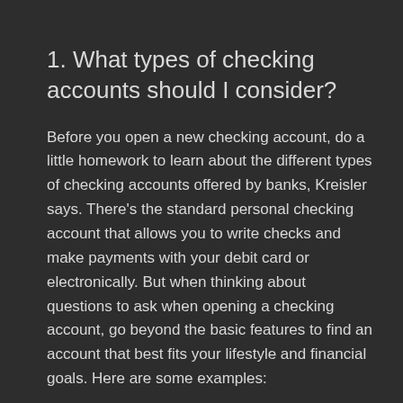1. What types of checking accounts should I consider?
Before you open a new checking account, do a little homework to learn about the different types of checking accounts offered by banks, Kreisler says. There’s the standard personal checking account that allows you to write checks and make payments with your debit card or electronically. But when thinking about questions to ask when opening a checking account, go beyond the basic features to find an account that best fits your lifestyle and financial goals. Here are some examples:
Online checking account: Ready to bypass the teller lines with the benefits of an online bank? Then this is the checking account for you. Doing your banking from any